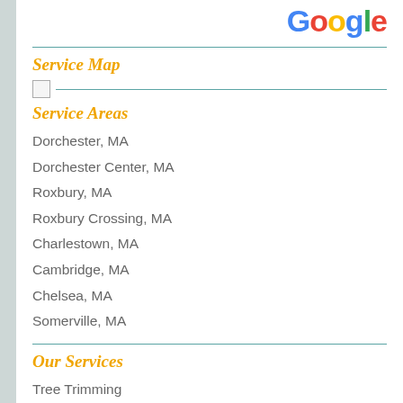[Figure (logo): Google logo in top right corner with multicolored letters]
Service Map
[Figure (map): Small map image placeholder with teal horizontal line]
Service Areas
Dorchester, MA
Dorchester Center, MA
Roxbury, MA
Roxbury Crossing, MA
Charlestown, MA
Cambridge, MA
Chelsea, MA
Somerville, MA
Our Services
Tree Trimming
Tree Service